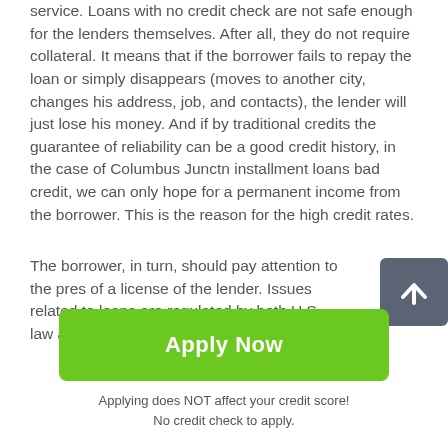service. Loans with no credit check are not safe enough for the lenders themselves. After all, they do not require collateral. It means that if the borrower fails to repay the loan or simply disappears (moves to another city, changes his address, job, and contacts), the lender will just lose his money. And if by traditional credits the guarantee of reliability can be a good credit history, in the case of Columbus Junctn installment loans bad credit, we can only hope for a permanent income from the borrower. This is the reason for the high credit rates.
The borrower, in turn, should pay attention to the pres of a license of the lender. Issues related to loans are regulated by both U.S. law and the law of each individual
[Figure (other): Dark grey scroll-to-top arrow button]
Apply Now
Applying does NOT affect your credit score!
No credit check to apply.